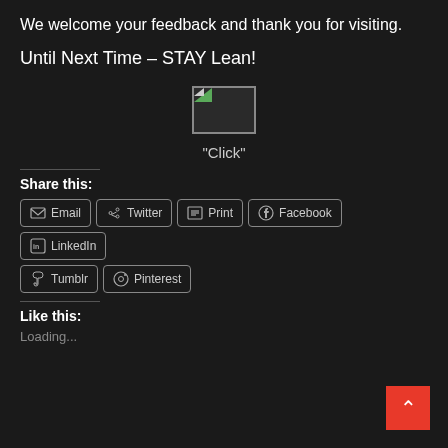We welcome your feedback and thank you for visiting.
Until Next Time – STAY Lean!
[Figure (illustration): Broken/placeholder image thumbnail with a small green and white triangle in the top-left corner, bordered box]
"Click"
Share this:
Email  Twitter  Print  Facebook  LinkedIn  Tumblr  Pinterest
Like this:
Loading...